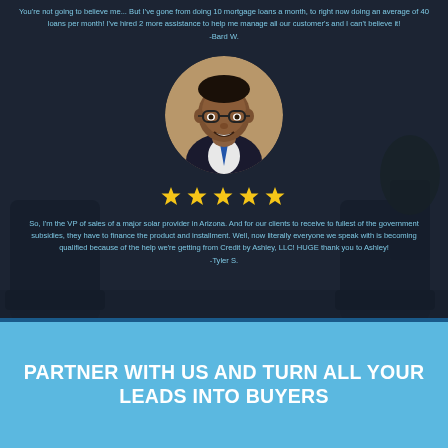You're not going to believe me... But I've gone from doing 10 mortgage loans a month, to right now doing an average of 40 loans per month! I've hired 2 more assistance to help me manage all our customer's and I can't believe it! -Bard W.
[Figure (photo): Circular headshot of a professional Black man in a dark suit and blue tie, wearing glasses, smiling]
[Figure (infographic): Five gold/yellow star rating icons in a row]
So, I'm the VP of sales of a major solar provider in Arizona. And for our clients to receive to fullest of the government subsidies, they have to finance the product and installment. Well, now literally everyone we speak with is becoming qualified because of the help we're getting from Credit by Ashley, LLC! HUGE thank you to Ashley! -Tyler S.
PARTNER WITH US AND TURN ALL YOUR LEADS INTO BUYERS